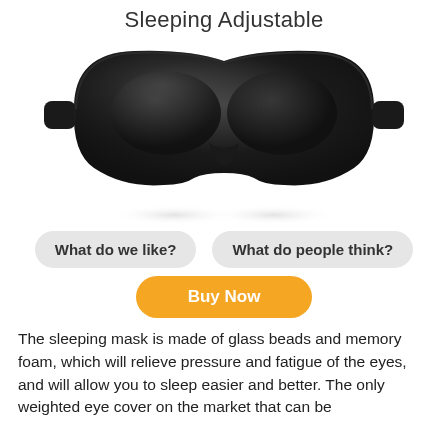Sleeping Adjustable
[Figure (photo): A black 3D contoured sleep eye mask with memory foam, shown from the front with two rounded eye cups and adjustable strap, with a soft reflection beneath it on a white background.]
What do we like?
What do people think?
Buy Now
The sleeping mask is made of glass beads and memory foam, which will relieve pressure and fatigue of the eyes, and will allow you to sleep easier and better. The only weighted eye cover on the market that can be